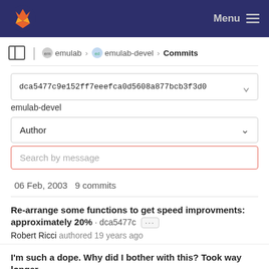GitLab Menu
emulab > emulab-devel > Commits
dca5477c9e152ff7eeefca0d5608a877bcb3f3d0
emulab-devel
Author
Search by message
06 Feb, 2003 9 commits
Re-arrange some functions to get speed improvments: approximately 20% · dca5477c ··· Robert Ricci authored 19 years ago
I'm such a dope. Why did I bother with this? Took way longer than · bdb0594f ···